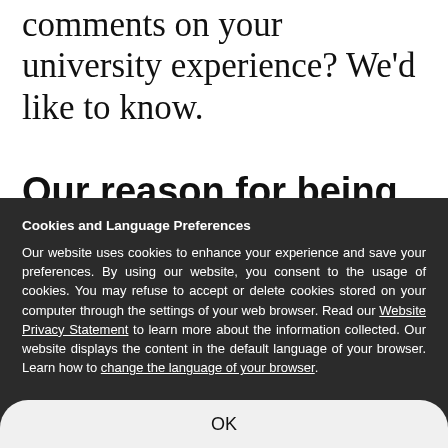comments on your university experience? We'd like to know.
Our reason for being
Cookies and Language Preferences
Our website uses cookies to enhance your experience and save your preferences. By using our website, you consent to the usage of cookies. You may refuse to accept or delete cookies stored on your computer through the settings of your web browser. Read our Website Privacy Statement to learn more about the information collected. Our website displays the content in the default language of your browser. Learn how to change the language of your browser.
OK